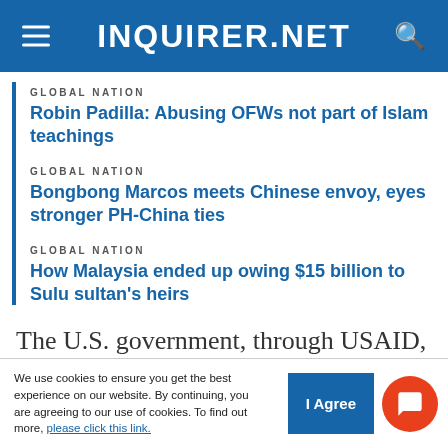INQUIRER.NET
GLOBAL NATION
Robin Padilla: Abusing OFWs not part of Islam teachings
GLOBAL NATION
Bongbong Marcos meets Chinese envoy, eyes stronger PH-China ties
GLOBAL NATION
How Malaysia ended up owing $15 billion to Sulu sultan's heirs
The U.S. government, through USAID, remains committed to ensuring young students have the
We use cookies to ensure you get the best experience on our website. By continuing, you are agreeing to our use of cookies. To find out more, please click this link.